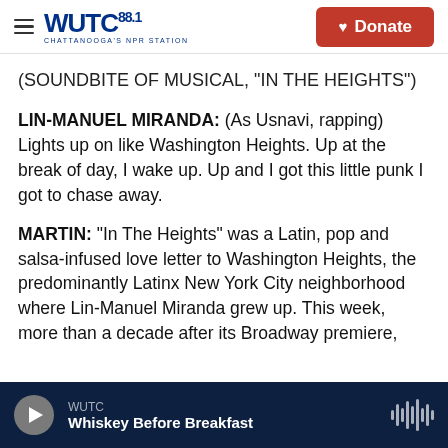WUTC 88.1 Chattanooga's NPR Station | Donate
(SOUNDBITE OF MUSICAL, "IN THE HEIGHTS")
LIN-MANUEL MIRANDA: (As Usnavi, rapping) Lights up on like Washington Heights. Up at the break of day, I wake up. Up and I got this little punk I got to chase away.
MARTIN: "In The Heights" was a Latin, pop and salsa-infused love letter to Washington Heights, the predominantly Latinx New York City neighborhood where Lin-Manuel Miranda grew up. This week, more than a decade after its Broadway premiere,
WUTC | Whiskey Before Breakfast